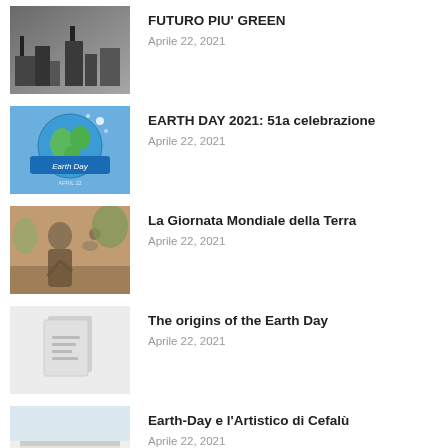FUTURO PIU' GREEN
Aprile 22, 2021
EARTH DAY 2021: 51a celebrazione
Aprile 22, 2021
La Giornata Mondiale della Terra
Aprile 22, 2021
The origins of the Earth Day
Aprile 22, 2021
Earth-Day e l'Artistico di Cefalù
Aprile 22, 2021